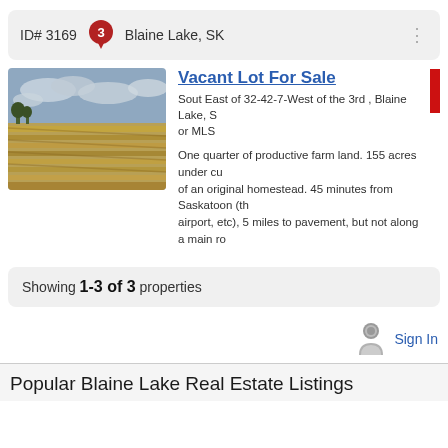ID# 3169   3   Blaine Lake, SK
Vacant Lot For Sale
Sout East of 32-42-7-West of the 3rd , Blaine Lake, S or MLS
[Figure (photo): Aerial/ground view of harvested grain field with crop rows under cloudy sky]
One quarter of productive farm land. 155 acres under cu of an original homestead. 45 minutes from Saskatoon (th airport, etc), 5 miles to pavement, but not along a main ro
Showing 1-3 of 3 properties
Sign In
Popular Blaine Lake Real Estate Listings